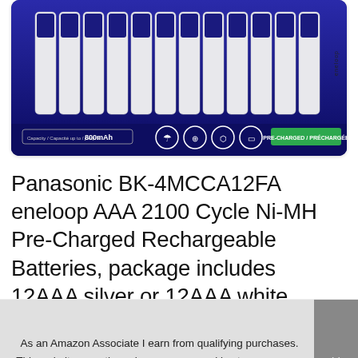[Figure (photo): Product photo of Panasonic eneloop AAA batteries (12 pack) on dark blue background with icons and 'PRE-CHARGED / PRÉCHARGÉE' label]
Panasonic BK-4MCCA12FA eneloop AAA 2100 Cycle Ni-MH Pre-Charged Rechargeable Batteries, package includes 12AAA silver or 12AAA white
As an Amazon Associate I earn from qualifying purchases. This website uses the only necessary cookies to ensure you get the best experience on our website. More information